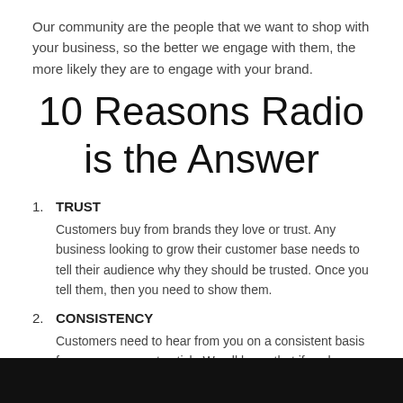Our community are the people that we want to shop with your business, so the better we engage with them, the more likely they are to engage with your brand.
10 Reasons Radio is the Answer
TRUST
Customers buy from brands they love or trust. Any business looking to grow their customer base needs to tell their audience why they should be trusted. Once you tell them, then you need to show them.
CONSISTENCY
Customers need to hear from you on a consistent basis for your message to stick. We all know that if we hear something once or twice we don't really believe it or it may just fade into the background, but if we hear it over a consistent period of time, the message will start to sink in.